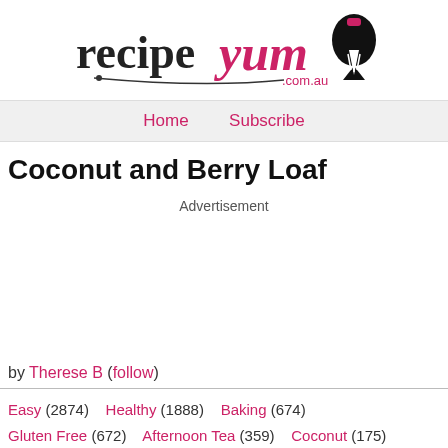[Figure (logo): RecipeYum.com.au logo — 'recipe' in black serif, 'yum' in pink cursive, pen nib icon, underline flourish]
Home   Subscribe
Coconut and Berry Loaf
Advertisement
by Therese B (follow)
Easy (2874)   Healthy (1888)   Baking (674)   Gluten Free (672)   Afternoon Tea (359)   Coconut (175)   Yoghurt (54)   Berries (33)   Loaf (8)   Coconut Flour (3)